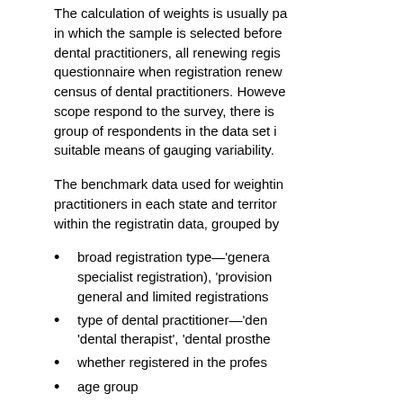The calculation of weights is usually pa in which the sample is selected before dental practitioners, all renewing regis questionnaire when registration renew census of dental practitioners. Howeve scope respond to the survey, there is group of respondents in the data set i suitable means of gauging variability.
The benchmark data used for weightin practitioners in each state and territor within the registratin data, grouped by
broad registration type—'genera specialist registration), 'provision general and limited registrations
type of dental practitioner—'den 'dental therapist', 'dental prosthe
whether registered in the profes
age group
sex.